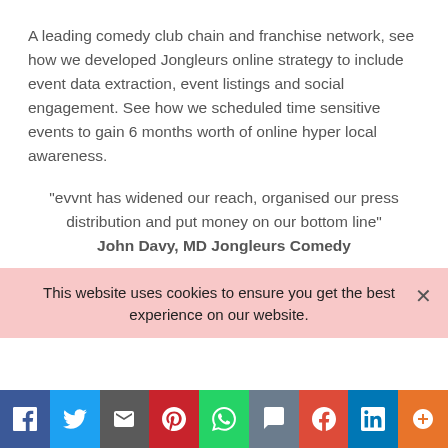A leading comedy club chain and franchise network, see how we developed Jongleurs online strategy to include event data extraction, event listings and social engagement. See how we scheduled time sensitive events to gain 6 months worth of online hyper local awareness.
“evvnt has widened our reach, organised our press distribution and put money on our bottom line” John Davy, MD Jongleurs Comedy
This website uses cookies to ensure you get the best experience on our website.